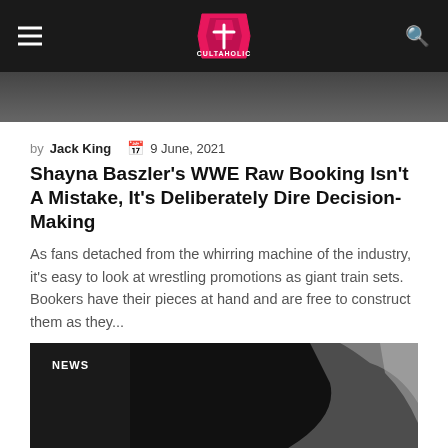Cultaholic navigation bar with logo, hamburger menu, and search icon
[Figure (photo): Top portion of an article hero image, partially visible]
by Jack King  9 June, 2021
Shayna Baszler's WWE Raw Booking Isn't A Mistake, It's Deliberately Dire Decision-Making
As fans detached from the whirring machine of the industry, it's easy to look at wrestling promotions as giant train sets. Bookers have their pieces at hand and are free to construct them as they...
[Figure (photo): Dark photo showing a person raising their arm/hand against a dark background, with a NEWS badge overlay]